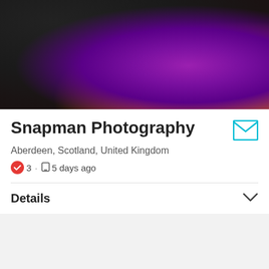[Figure (photo): Close-up photo of a person wearing a bright purple/violet fabric garment against a dark background, with a small portion of skin visible at bottom right]
Snapman Photography
Aberdeen, Scotland, United Kingdom
3 · 5 days ago
Details